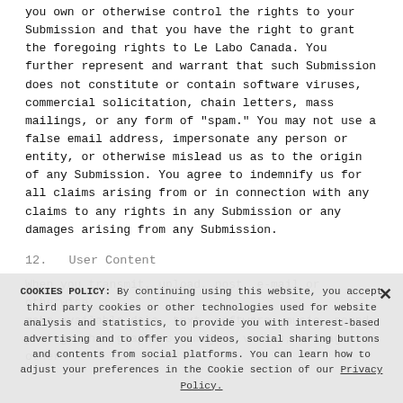you own or otherwise control the rights to your Submission and that you have the right to grant the foregoing rights to Le Labo Canada. You further represent and warrant that such Submission does not constitute or contain software viruses, commercial solicitation, chain letters, mass mailings, or any form of "spam." You may not use a false email address, impersonate any person or entity, or otherwise mislead us as to the origin of any Submission. You agree to indemnify us for all claims arising from or in connection with any claims to any rights in any Submission or any damages arising from any Submission.
12.  User Content
When you transmit, upload, post, e-mail or otherwise make available data, text, software, music, sound, photographs, graphics, images, videos, messages or other
COOKIES POLICY: By continuing using this website, you accept third party cookies or other technologies used for website analysis and statistics, to provide you with interest-based advertising and to offer you videos, social sharing buttons and contents from social platforms. You can learn how to adjust your preferences in the Cookie section of our Privacy Policy.